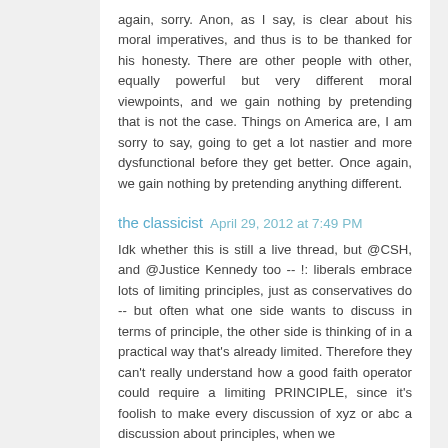again, sorry. Anon, as I say, is clear about his moral imperatives, and thus is to be thanked for his honesty. There are other people with other, equally powerful but very different moral viewpoints, and we gain nothing by pretending that is not the case. Things on America are, I am sorry to say, going to get a lot nastier and more dysfunctional before they get better. Once again, we gain nothing by pretending anything different.
the classicist  April 29, 2012 at 7:49 PM
Idk whether this is still a live thread, but @CSH, and @Justice Kennedy too -- !: liberals embrace lots of limiting principles, just as conservatives do -- but often what one side wants to discuss in terms of principle, the other side is thinking of in a practical way that's already limited. Therefore they can't really understand how a good faith operator could require a limiting PRINCIPLE, since it's foolish to make every discussion of xyz or abc a discussion about principles, when we